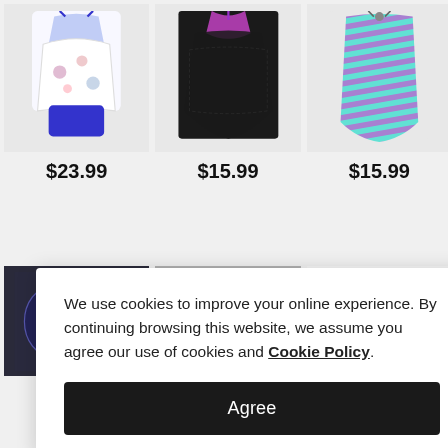[Figure (photo): Floral print tankini top with blue shorts, white background]
[Figure (photo): Black and purple lace overlay swimsuit top, dark background]
[Figure (photo): Teal and purple striped halter swimsuit top, light background]
$23.99
$15.99
$15.99
[Figure (photo): Galaxy print bikini top, dark background]
[Figure (photo): Black and white halter bikini top with spots, grey background]
[Figure (photo): Red and white gradient swimsuit top, light background]
We use cookies to improve your online experience. By continuing browsing this website, we assume you agree our use of cookies and Cookie Policy.
Agree